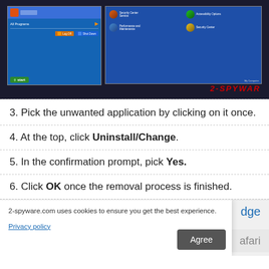[Figure (screenshot): Screenshot of Windows XP Start Menu and Control Panel windows on dark background, with '2-SPYWAR' watermark in red]
3. Pick the unwanted application by clicking on it once.
4. At the top, click Uninstall/Change.
5. In the confirmation prompt, pick Yes.
6. Click OK once the removal process is finished.
2-spyware.com uses cookies to ensure you get the best experience.
Privacy policy
Agree